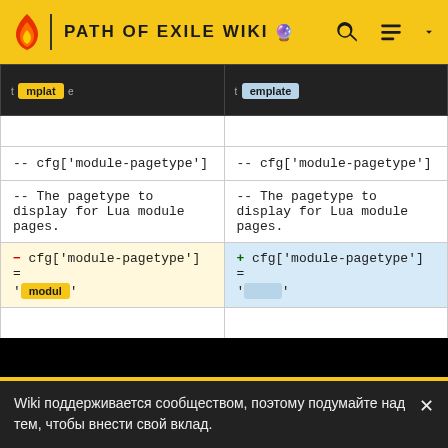PATH OF EXILE WIKI
| Left (old) | Right (new) |
| --- | --- |
| [template] | [template] |
|  |  |
| -- cfg['module-pagetype'] | -- cfg['module-pagetype'] |
| -- The pagetype to display for Lua module pages. | -- The pagetype to display for Lua module pages. |
| - cfg['module-pagetype'] = [module] | + cfg['module-pagetype'] = [highlighted] |
|  |  |
| -- cfg['default-pagetype'] | -- cfg['default-pagetype'] |
| Строка 375: | Строка 387: |
Wiki поддерживается сообществом, поэтому подумайте над тем, чтобы внести свой вклад.